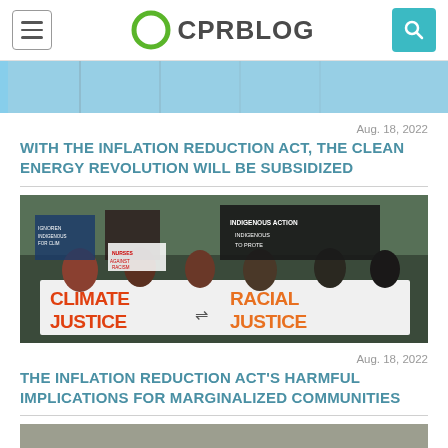CPR BLOG
[Figure (photo): Top partial image showing power lines and blue sky]
Aug. 18, 2022
WITH THE INFLATION REDUCTION ACT, THE CLEAN ENERGY REVOLUTION WILL BE SUBSIDIZED
[Figure (photo): Protest photo showing people holding a banner that reads CLIMATE JUSTICE = RACIAL JUSTICE with Indigenous action signs in background]
Aug. 18, 2022
THE INFLATION REDUCTION ACT'S HARMFUL IMPLICATIONS FOR MARGINALIZED COMMUNITIES
[Figure (photo): Bottom partial image, partially visible]